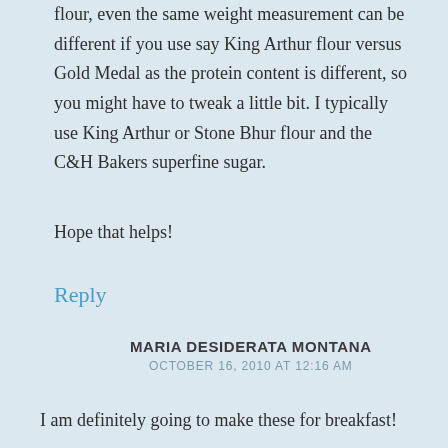flour, even the same weight measurement can be different if you use say King Arthur flour versus Gold Medal as the protein content is different, so you might have to tweak a little bit. I typically use King Arthur or Stone Bhur flour and the C&H Bakers superfine sugar.
Hope that helps!
Reply
MARIA DESIDERATA MONTANA
OCTOBER 16, 2010 AT 12:16 AM
I am definitely going to make these for breakfast!